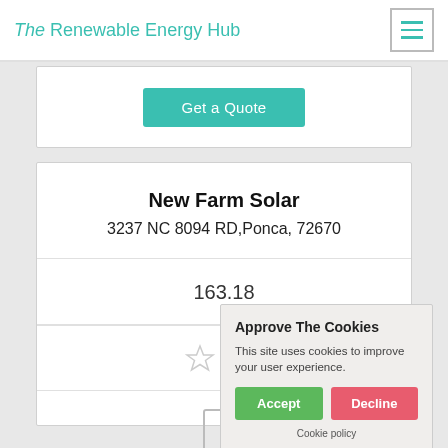The Renewable Energy Hub
Get a Quote
New Farm Solar
3237 NC 8094 RD,Ponca, 72670
163.18
[Figure (other): Two empty star rating icons]
[Figure (other): Cookie consent popup overlay with title 'Approve The Cookies', body text 'This site uses cookies to improve your user experience.', Accept and Decline buttons, and Cookie policy link]